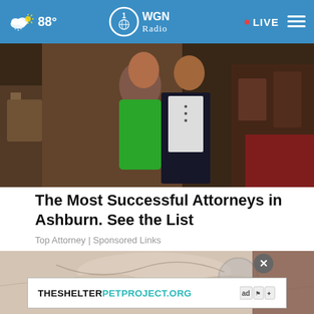88° WGN Radio · LIVE
[Figure (photo): Two people at an event, one in a green dress, one in a dark suit with white shirt, restaurant/banquet hall setting]
The Most Successful Attorneys in Ashburn. See the List
Top Attorney | Sponsored Links
[Figure (photo): Abstract/decorative image, partially visible, with a magnifying glass overlay and close button. Ad banner overlay: THESHELTERPETPROJECT.ORG]